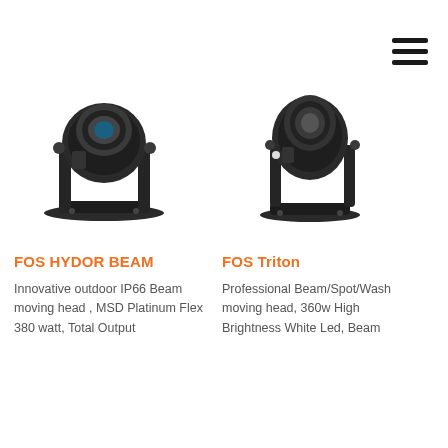[Figure (photo): Hamburger menu icon — three horizontal black bars in top right corner]
[Figure (photo): FOS HYDOR BEAM moving head light fixture — black outdoor moving head, large lens, yoke mount, viewed from slight angle]
FOS HYDOR BEAM
Innovative outdoor IP66 Beam moving head , MSD Platinum Flex 380 watt, Total Output
[Figure (photo): FOS Triton moving head light fixture — black moving head spot/wash, large front lens, compact yoke, viewed from slight angle]
FOS Triton
Professional Beam/Spot/Wash moving head, 360w High Brightness White Led, Beam